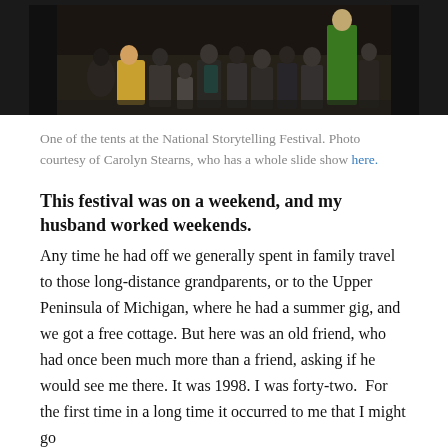[Figure (photo): Photo of crowd at the National Storytelling Festival, viewed from behind, people gathered under a tent area, dark background.]
One of the tents at the National Storytelling Festival. Photo courtesy of Carolyn Stearns, who has a whole slide show here.
This festival was on a weekend, and my husband worked weekends.
Any time he had off we generally spent in family travel to those long-distance grandparents, or to the Upper Peninsula of Michigan, where he had a summer gig, and we got a free cottage. But here was an old friend, who had once been much more than a friend, asking if he would see me there. It was 1998. I was forty-two.  For the first time in a long time it occurred to me that I might go